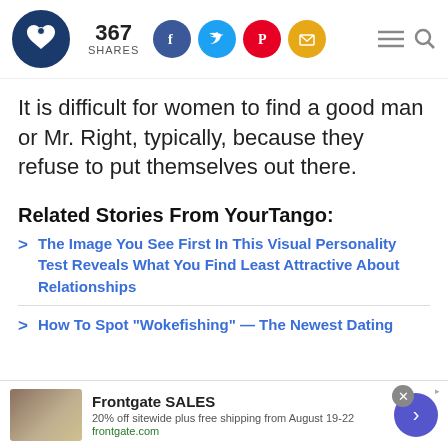YourTango logo | 367 SHARES | Facebook, Twitter, Pinterest, Email social buttons | Hamburger menu | Search
It is difficult for women to find a good man or Mr. Right, typically, because they refuse to put themselves out there.
Related Stories From YourTango:
The Image You See First In This Visual Personality Test Reveals What You Find Least Attractive About Relationships
How To Spot "Wokefishing" — The Newest Dating
[Figure (screenshot): Advertisement banner for Frontgate SALES: 20% off sitewide plus free shipping from August 19-22, frontgate.com, with close button and navigation arrow]